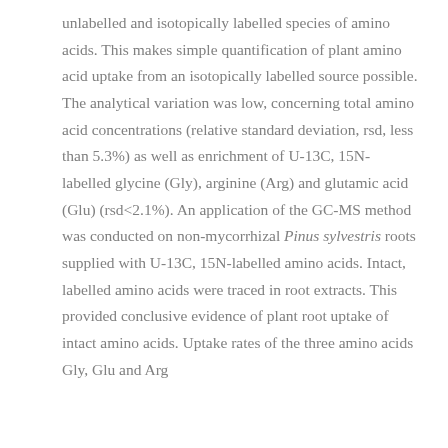unlabelled and isotopically labelled species of amino acids. This makes simple quantification of plant amino acid uptake from an isotopically labelled source possible. The analytical variation was low, concerning total amino acid concentrations (relative standard deviation, rsd, less than 5.3%) as well as enrichment of U-13C, 15N-labelled glycine (Gly), arginine (Arg) and glutamic acid (Glu) (rsd<2.1%). An application of the GC-MS method was conducted on non-mycorrhizal Pinus sylvestris roots supplied with U-13C, 15N-labelled amino acids. Intact, labelled amino acids were traced in root extracts. This provided conclusive evidence of plant root uptake of intact amino acids. Uptake rates of the three amino acids Gly, Glu and Arg